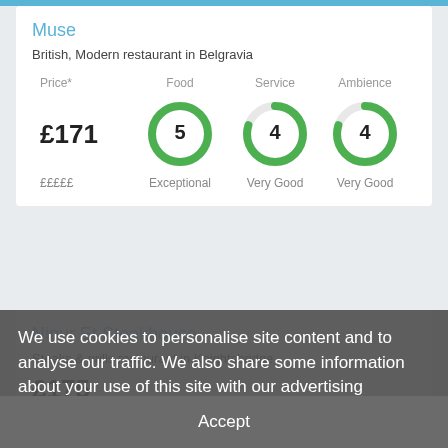Muse
British, Modern restaurant in Belgravia
| Price* | Food | Service | Ambience |
| --- | --- | --- | --- |
| £171 | 5 | 4 | 4 |
| £££££ | Exceptional | Very Good | Very Good |
Nipur Et Steakhouse
Steaks & grills restaurant in Knightsbridge
£175
££££
We use cookies to personalise site content and to analyse our traffic. We also share some information about your use of this site with our advertising partners.
Privacy Policy
Accept